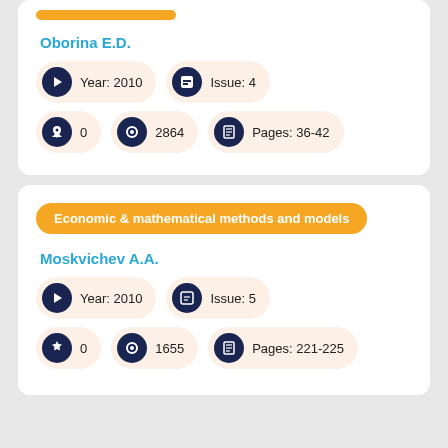Oborina E.D.
Year: 2010
Issue: 4
0
2864
Pages: 36-42
Economic & mathematical methods and models
Moskvichev A.A.
Year: 2010
Issue: 5
0
1655
Pages: 221-225